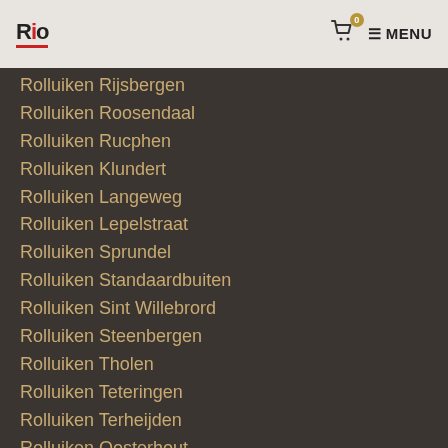Rio | 0 | MENU
Rolluiken Rijsbergen
Rolluiken Roosendaal
Rolluiken Rucphen
Rolluiken Klundert
Rolluiken Langeweg
Rolluiken Lepelstraat
Rolluiken Sprundel
Rolluiken Standaardbuiten
Rolluiken Sint Willebrord
Rolluiken Steenbergen
Rolluiken Tholen
Rolluiken Teteringen
Rolluiken Terheijden
Rolluiken Oosterhout
Rolluiken Wouw
Rolluiken W. Plantage
Rolluiken Willemstad